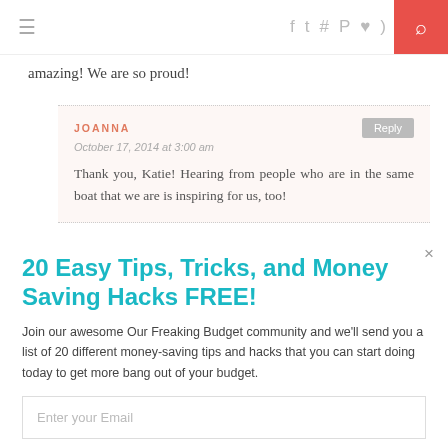≡  f  twitter  instagram  pinterest  heart  rss  [search]
amazing! We are so proud!
JOANNA
October 17, 2014 at 3:00 am
Thank you, Katie! Hearing from people who are in the same boat that we are is inspiring for us, too!
20 Easy Tips, Tricks, and Money Saving Hacks FREE!
Join our awesome Our Freaking Budget community and we'll send you a list of 20 different money-saving tips and hacks that you can start doing today to get more bang out of your budget.
Enter your Email
Sign Me Up!